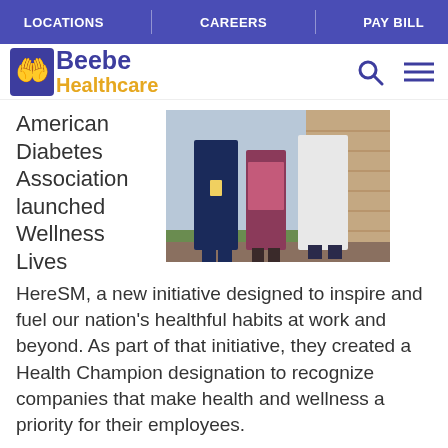LOCATIONS | CAREERS | PAY BILL
[Figure (logo): Beebe Healthcare logo with blue hands icon, blue 'Beebe' text and orange 'Healthcare' text, search icon, and hamburger menu icon]
American Diabetes Association launched Wellness Lives HereSM, a new initiative designed to inspire and fuel our nation's healthful habits at work and beyond. As part of that initiative, they created a Health Champion designation to recognize companies that make health and wellness a priority for their employees.
[Figure (photo): Photo showing lower bodies of three people standing outdoors, appearing to be healthcare professionals]
To qualify for the Health Champion designation,